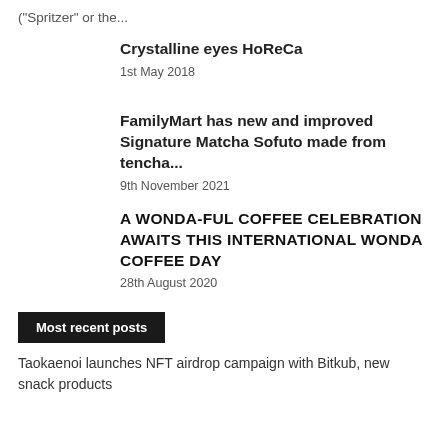("Spritzer" or the...
Crystalline eyes HoReCa
1st May 2018
FamilyMart has new and improved Signature Matcha Sofuto made from tencha...
9th November 2021
A WONDA-FUL COFFEE CELEBRATION AWAITS THIS INTERNATIONAL WONDA COFFEE DAY
28th August 2020
Most recent posts
Taokaenoi launches NFT airdrop campaign with Bitkub, new snack products